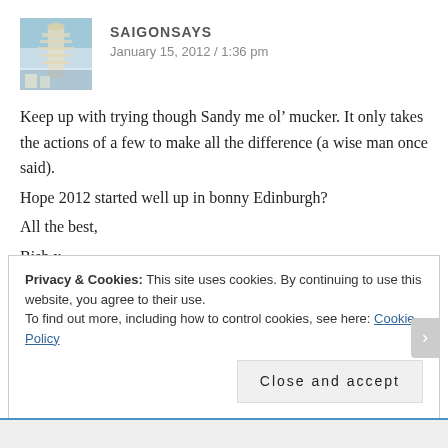[Figure (photo): Avatar photo of Saigon Says — a photo showing the Leaning Tower of Pisa area with people]
SAIGONSAYS
January 15, 2012 / 1:36 pm
Keep up with trying though Sandy me ol’ mucker. It only takes the actions of a few to make all the difference (a wise man once said).
Hope 2012 started well up in bonny Edinburgh?
All the best,
Bish x
↩ Reply
Privacy & Cookies: This site uses cookies. By continuing to use this website, you agree to their use.
To find out more, including how to control cookies, see here: Cookie Policy
Close and accept